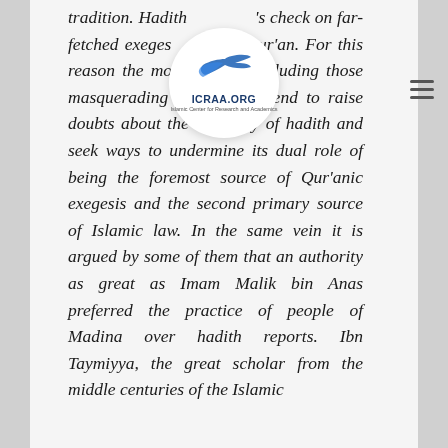tradition. Hadith is a check on far-fetched exegesis of the Qur'an. For this reason the modernists including those masquerading as scholars tend to raise doubts about the authority of hadith and seek ways to undermine its dual role of being the foremost source of Qur'anic exegesis and the second primary source of Islamic law. In the same vein it is argued by some of them that an authority as great as Imam Malik bin Anas preferred the practice of people of Madina over hadith reports. Ibn Taymiyya, the great scholar from the middle centuries of the Islamic
[Figure (logo): ICRAA.ORG circular logo with blue swoosh/bird icon and organization name]